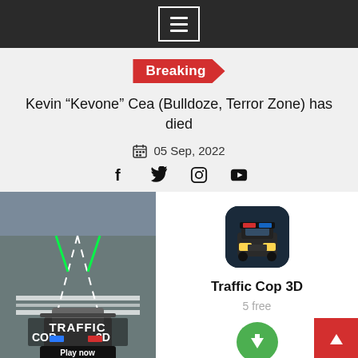Navigation menu bar with hamburger icon
Breaking
Kevin “Kevone” Cea (Bulldoze, Terror Zone) has died
05 Sep, 2022
Social icons: Facebook, Twitter, Instagram, YouTube
[Figure (screenshot): Traffic Cop 3D mobile game screenshot showing a police car on a road with laser beams, text 'TRAFFIC COP 3D' and 'Play now' button]
[Figure (screenshot): App card for Traffic Cop 3D showing app icon (police car), title 'Traffic Cop 3D', '5 free' label, and a green download button]